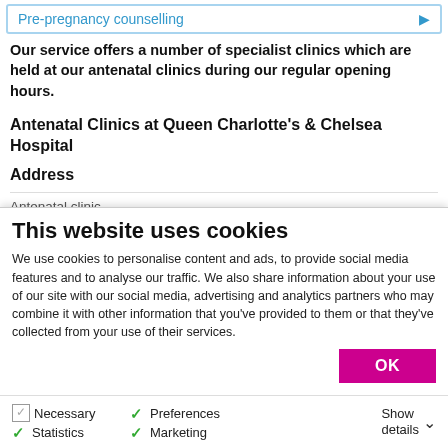Pre-pregnancy counselling
Our service offers a number of specialist clinics which are held at our antenatal clinics during our regular opening hours.
Antenatal Clinics at Queen Charlotte's & Chelsea Hospital
Address
Antenatal clinic
This website uses cookies
We use cookies to personalise content and ads, to provide social media features and to analyse our traffic. We also share information about your use of our site with our social media, advertising and analytics partners who may combine it with other information that you've provided to them or that they've collected from your use of their services.
OK
Necessary
Preferences
Statistics
Marketing
Show details